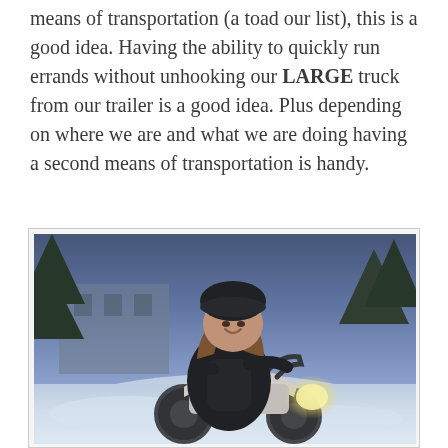means of transportation (a toad our list), this is a good idea. Having the ability to quickly run errands without unhooking our LARGE truck from our trailer is a good idea. Plus depending on where we are and what we are doing having a second means of transportation is handy.
[Figure (photo): A woman sitting on a motorcycle outdoors in a snowy winter setting at dusk or nighttime. She is wearing a dark jacket and hat, smiling at the camera. The headlight of the motorcycle is on. Trees and a building are visible in the background.]